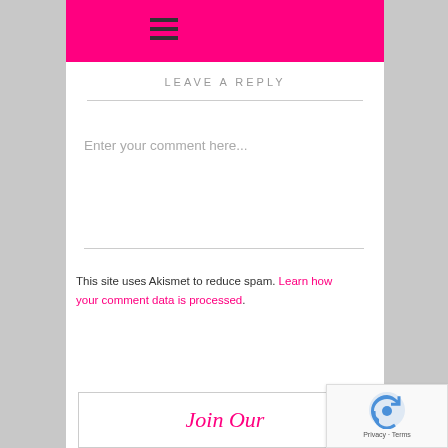[Figure (screenshot): Pink/magenta navigation header bar with hamburger menu icon (three horizontal lines)]
LEAVE A REPLY
Enter your comment here...
This site uses Akismet to reduce spam. Learn how your comment data is processed.
Join Our
[Figure (logo): Google reCAPTCHA badge with Privacy and Terms links]